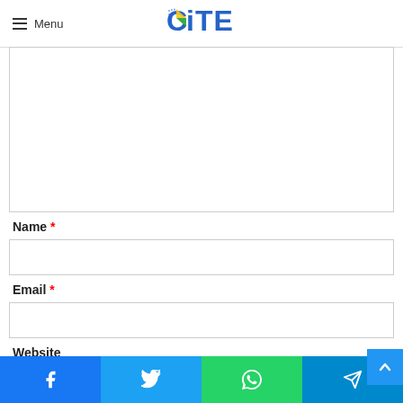Menu — CITE logo
Name *
Email *
Website
Facebook | Twitter | WhatsApp | Telegram